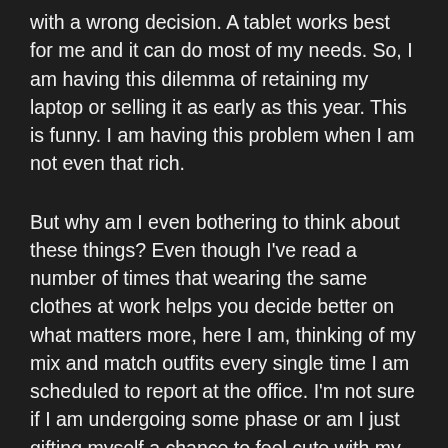with a wrong decision. A tablet works best for me and it can do most of my needs. So, I am having this dilemma of retaining my laptop or selling it as early as this year. This is funny. I am having this problem when I am not even that rich.
But why am I even bothering to think about these things? Even though I've read a number of times that wearing the same clothes at work helps you decide better on what matters more, here I am, thinking of my mix and match outfits every single time I am scheduled to report at the office. I'm not sure if I am undergoing some phase or am I just gifting myself a chance to feel cute with my Korean-inspired outfits? I think it's both. But eventually, I will land on at least a set of clothing that I can use repeatedly so I won't think much but still feel good while wearing them. Hitting two birds with one stone? Hell, yes.